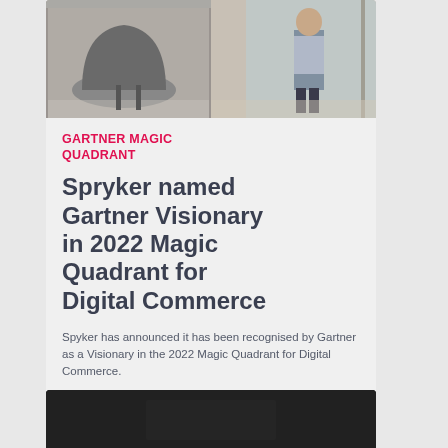[Figure (photo): Office interior photo showing a person standing in a modern office space with pod-style seating furniture; split into two panels]
GARTNER MAGIC QUADRANT
Spryker named Gartner Visionary in 2022 Magic Quadrant for Digital Commerce
Spyker has announced it has been recognised by Gartner as a Visionary in the 2022 Magic Quadrant for Digital Commerce.
[Figure (photo): Dark background photo, partially visible at bottom of page]